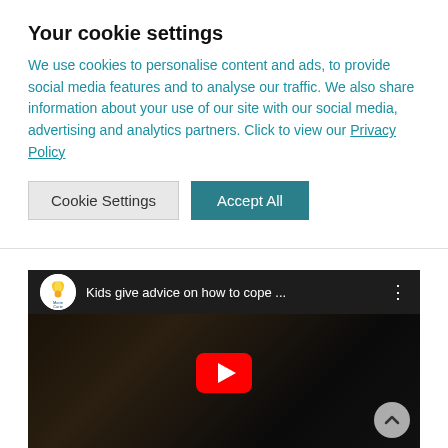Your cookie settings
We use cookies to personalise content and ads, to provide social media features and to analyse our traffic. We also share information about your use of our site with our social media, advertising and analytics partners. Click to view our Privacy Policy
Cookie Settings | Accept All
[Figure (screenshot): YouTube video embed showing a person with the title 'Kids give advice on how to cope ...' and a red play button overlay. Marie Curie charity logo visible in top-left corner of the video player.]